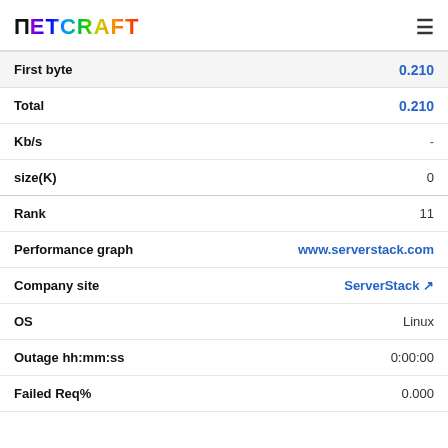Netcraft
| Field | Value |
| --- | --- |
| First byte | 0.210 |
| Total | 0.210 |
| Kb/s | - |
| size(K) | 0 |
| Rank | 11 |
| Performance graph | www.serverstack.com |
| Company site | ServerStack |
| OS | Linux |
| Outage hh:mm:ss | 0:00:00 |
| Failed Req% | 0.000 |